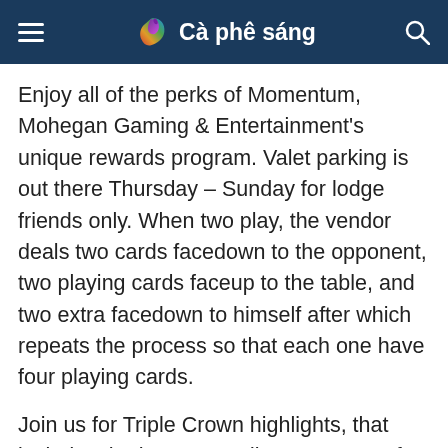Cà phê sáng
Enjoy all of the perks of Momentum, Mohegan Gaming & Entertainment's unique rewards program. Valet parking is out there Thursday – Sunday for lodge friends only. When two play, the vendor deals two cards facedown to the opponent, two playing cards faceup to the table, and two extra facedown to himself after which repeats the process so that each one have four playing cards.
Join us for Triple Crown highlights, that includes the heart-pounding moments of horse racing's best problem, and relive probably the most